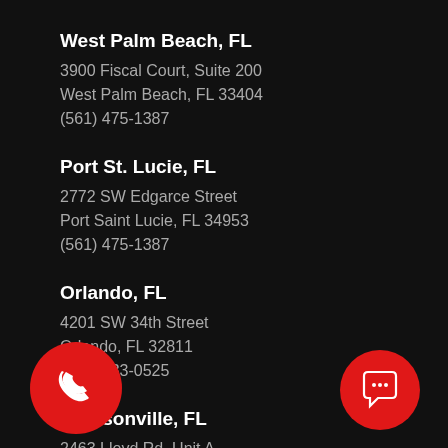West Palm Beach, FL
3900 Fiscal Court, Suite 200
West Palm Beach, FL 33404
(561) 475-1387
Port St. Lucie, FL
2772 SW Edgarce Street
Port Saint Lucie, FL 34953
(561) 475-1387
Orlando, FL
4201 SW 34th Street
Orlando, FL 32811
(407) 233-0525
Jacksonville, FL
2463 Lloyd Rd, Unit A
Jacksonville, FL 32254
(561) 475-1387